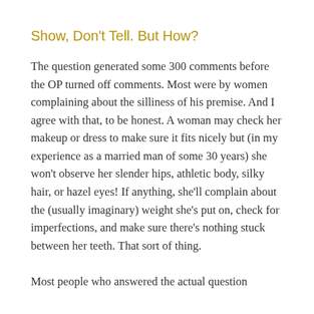Show, Don't Tell. But How?
The question generated some 300 comments before the OP turned off comments. Most were by women complaining about the silliness of his premise. And I agree with that, to be honest. A woman may check her makeup or dress to make sure it fits nicely but (in my experience as a married man of some 30 years) she won't observe her slender hips, athletic body, silky hair, or hazel eyes! If anything, she'll complain about the (usually imaginary) weight she's put on, check for imperfections, and make sure there's nothing stuck between her teeth. That sort of thing.
Most people who answered the actual question